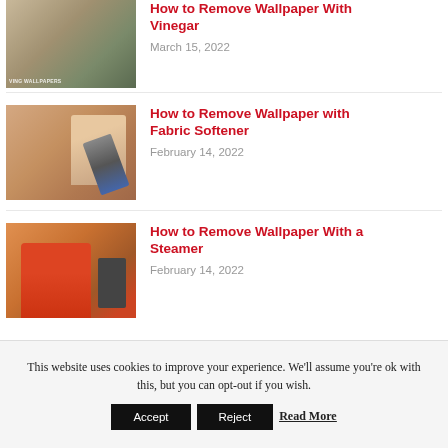[Figure (photo): Partial wallpaper image with VING WALLPAPERS watermark, top article cropped]
How to Remove Wallpaper With Vinegar
March 15, 2022
[Figure (photo): Hand using a scraper tool to remove wallpaper from wall]
How to Remove Wallpaper with Fabric Softener
February 14, 2022
[Figure (photo): Person in red using a steamer device to remove wallpaper]
How to Remove Wallpaper With a Steamer
February 14, 2022
This website uses cookies to improve your experience. We'll assume you're ok with this, but you can opt-out if you wish.